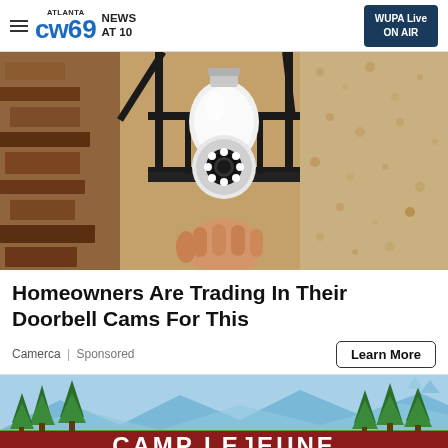Atlanta CW69 News at 10 | WUPA Live ON AIR
[Figure (photo): A security camera shaped like a light bulb installed in a black outdoor lantern fixture mounted on a textured stone/stucco wall]
Homeowners Are Trading In Their Doorbell Cams For This
Camerca | Sponsored
Learn More
[Figure (illustration): Illustration of Camp Lejeune sign with cartoon pine trees and mountains in the background, red sign at bottom reading CAMP LEJEUNE]